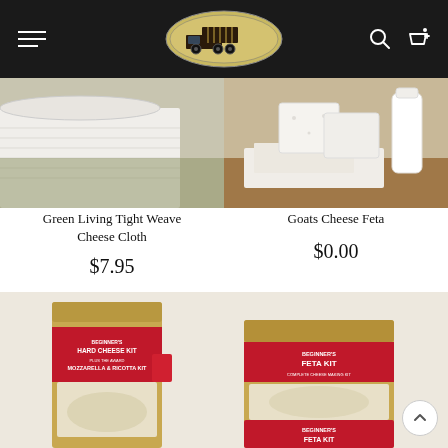[Figure (screenshot): E-commerce website header with hamburger menu, truck logo in oval, search icon, and cart icon on black background]
[Figure (photo): Close-up of green tight weave cheese cloth fabric]
[Figure (photo): Goats cheese feta blocks stacked with cheesecloth and milk container]
Green Living Tight Weave Cheese Cloth
$7.95
Goats Cheese Feta
$0.00
[Figure (photo): Beginner's Hard Cheese Kit including Mozzarella & Ricotta Kit box]
[Figure (photo): Beginner's Feta Kit box with red label]